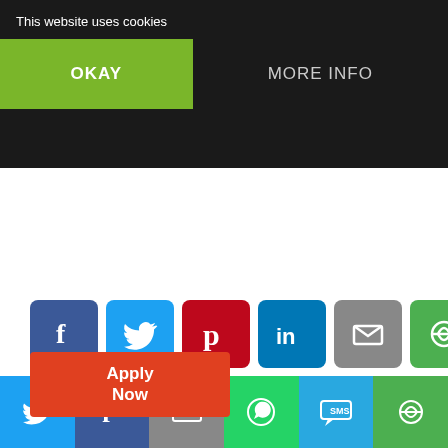This website uses cookies
OKAY
MORE INFO
Apply Now
[Figure (infographic): Social share buttons row: Facebook (blue), Twitter (light blue), Pinterest (red), LinkedIn (blue), Email (gray), Share (green)]
You may also like:
[Figure (logo): Trigent Software logo - yellow geometric shape with TRIGENT text and OVERCOMING LIMITS tagline]
[Figure (logo): amazon.com logo]
Trigent Software Walk-in
Amazon Walk-in Drive For
[Figure (infographic): Bottom share bar: Twitter, Facebook, Email, WhatsApp, SMS, Share buttons]